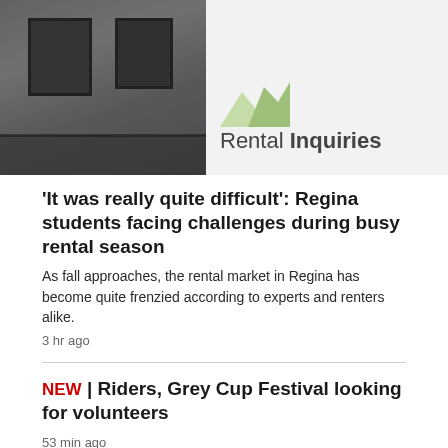[Figure (photo): Photo of a rental apartment building exterior with balcony railings on the left, and a 'Rental Inquiries' sign/logo on the right against a light background]
'It was really quite difficult': Regina students facing challenges during busy rental season
As fall approaches, the rental market in Regina has become quite frenzied according to experts and renters alike.
3 hr ago
NEW | Riders, Grey Cup Festival looking for volunteers
53 min ago
NEW | Federal task force says Canada's